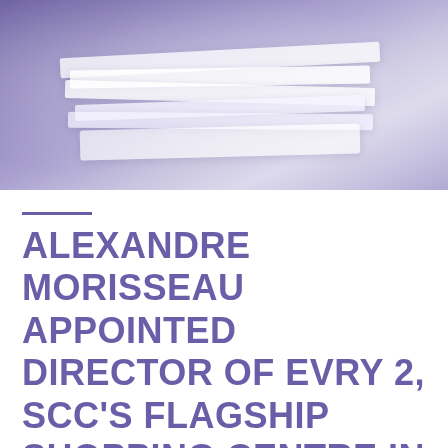[Figure (photo): Blurred purple-toned image of stacked paper documents or sheets, viewed at an angle from above.]
ALEXANDRE MORISSEAU APPOINTED DIRECTOR OF EVRY 2, SCC'S FLAGSHIP SHOPPING CENTRE IN FRANCE!